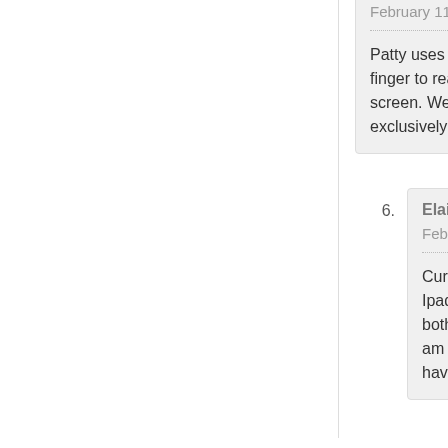February 11, 2014 at 10:45 am
Patty uses original Kindle; I use finger to read and any Kindle on screen. We also have Kindle ap exclusively on the Kindles.
6. Elaine Loscher says: February 11, 2014 at 10:51 am
Currently I have the Kindle Fire Ipad and his phone can read bo both have had the original Kind am happy with what I have and have the app so we can read b
7. Larry Vanstone says: February 11, 2014 at 5:08 pm
Nick. We both read on our Nex